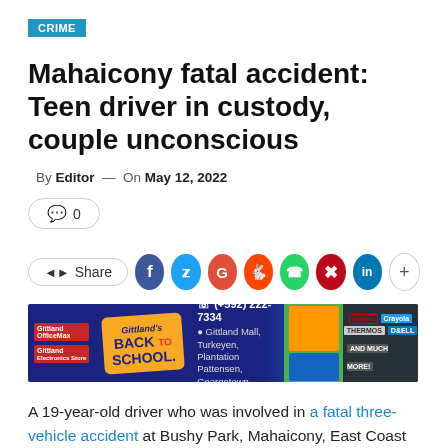CRIME
Mahaicony fatal accident: Teen driver in custody, couple unconscious
By Editor — On May 12, 2022
[Figure (infographic): Comment button showing 0 comments, share button with social media icons for Facebook, Twitter, Google+, Reddit, WhatsApp, Pinterest, LinkedIn, and a plus button]
[Figure (infographic): Gittland Back to School advertisement banner with phone number (+592) 222-7334, address Gittland Mall, Turkeyen, Plantation Pattensen, Georgetown, and brand logos including Crayola, Thermos, Dell]
A 19-year-old driver who was involved in a fatal three-vehicle accident at Bushy Park, Mahaicony, East Coast Demerara on Thursday is in police custody while a man and his wife from one of the vehicles are unconscious.